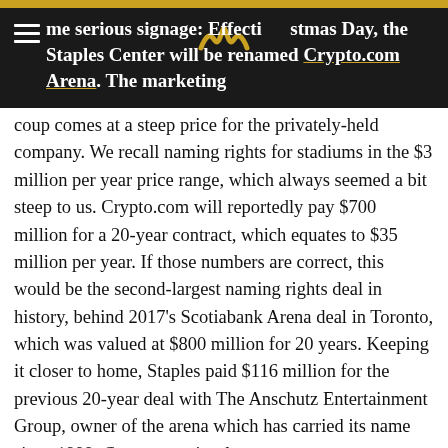some serious signage: Effective Christmas Day, the Staples Center will be renamed Crypto.com Arena. The marketing
coup comes at a steep price for the privately-held company. We recall naming rights for stadiums in the $3 million per year price range, which always seemed a bit steep to us. Crypto.com will reportedly pay $700 million for a 20-year contract, which equates to $35 million per year. If those numbers are correct, this would be the second-largest naming rights deal in history, behind 2017’s Scotiabank Arena deal in Toronto, which was valued at $800 million for 20 years. Keeping it closer to home, Staples paid $116 million for the previous 20-year deal with The Anschutz Entertainment Group, owner of the arena which has carried its name since 1999. Crypto.com is a low-cost cryptocurrency exchange, much like publicly-traded Coinbase Global (COIN $347), a member of the Penn Intrepid Trading Platform. Yes, cryptocurrencies are here to stay, but it can be very difficult to separate the long-term